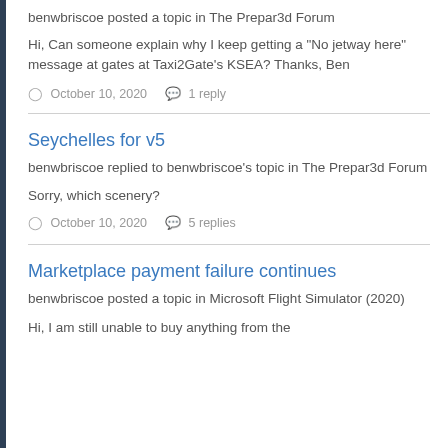benwbriscoe posted a topic in The Prepar3d Forum
Hi, Can someone explain why I keep getting a "No jetway here" message at gates at Taxi2Gate's KSEA? Thanks, Ben
October 10, 2020   1 reply
Seychelles for v5
benwbriscoe replied to benwbriscoe's topic in The Prepar3d Forum
Sorry, which scenery?
October 10, 2020   5 replies
Marketplace payment failure continues
benwbriscoe posted a topic in Microsoft Flight Simulator (2020)
Hi, I am still unable to buy anything from the